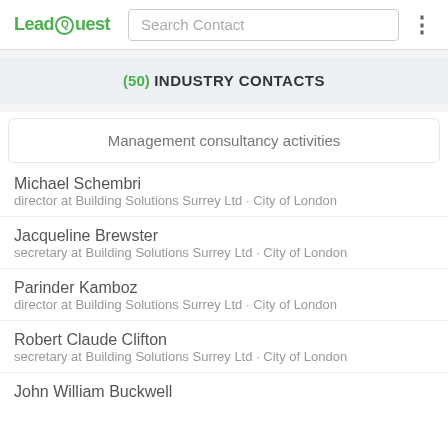LeadQuest | Search Contact
(50) INDUSTRY CONTACTS
Management consultancy activities
Michael Schembri
director at Building Solutions Surrey Ltd · City of London
Jacqueline Brewster
secretary at Building Solutions Surrey Ltd · City of London
Parinder Kamboz
director at Building Solutions Surrey Ltd · City of London
Robert Claude Clifton
secretary at Building Solutions Surrey Ltd · City of London
John William Buckwell